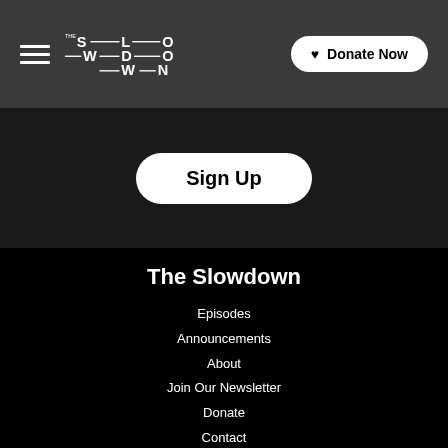The Slowdown — navigation header with hamburger menu, logo, and Donate Now button
Sign Up
The Slowdown
Episodes
Announcements
About
Join Our Newsletter
Donate
Contact